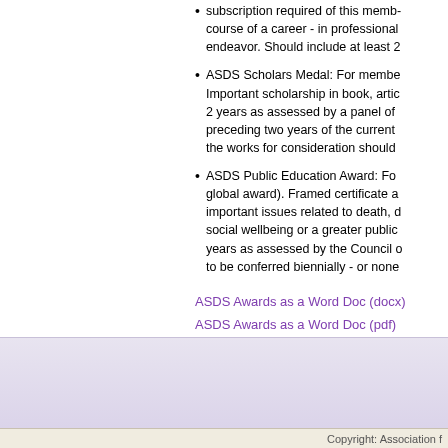subscription required of this member - throughout the course of a career - in professional or other scholarly endeavor. Should include at least 2
ASDS Scholars Medal: For members Important scholarship in book, article, etc. - at least 2 years as assessed by a panel of preceding two years of the current the works for consideration should
ASDS Public Education Award: For global award). Framed certificate a important issues related to death, d social wellbeing or a greater public years as assessed by the Council o to be conferred biennially - or none
ASDS Awards as a Word Doc (docx)
ASDS Awards as a Word Doc (pdf)
Copyright: Association f